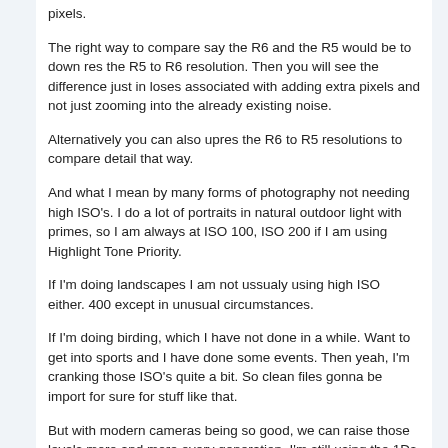pixels.
The right way to compare say the R6 and the R5 would be to down res the R5 to R6 resolution. Then you will see the difference just in loses associated with adding extra pixels and not just zooming into the already existing noise.
Alternatively you can also upres the R6 to R5 resolutions to compare detail that way.
And what I mean by many forms of photography not needing high ISO's. I do a lot of portraits in natural outdoor light with primes, so I am always at ISO 100, ISO 200 if I am using Highlight Tone Priority.
If I'm doing landscapes I am not ussualy using high ISO either. 400 except in unusual circumstances.
If I'm doing birding, which I have not done in a while. Want to get into sports and I have done some events. Then yeah, I'm cranking those ISO's quite a bit. So clean files gonna be import for sure for stuff like that.
But with modern cameras being so good, we can raise those levels more and more every generation. I'm still using the 1Ds III and 1D III with good success, especially for the money. Definitely not as good for events and sports that I want to do. But I think it iliatrates a point that some don't need super high ISO's and some don't need super high resolution. And I think we agree on this.